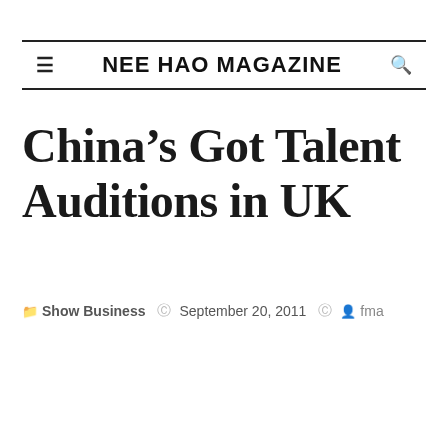NEE HAO MAGAZINE
China's Got Talent Auditions in UK
Show Business  September 20, 2011  fma